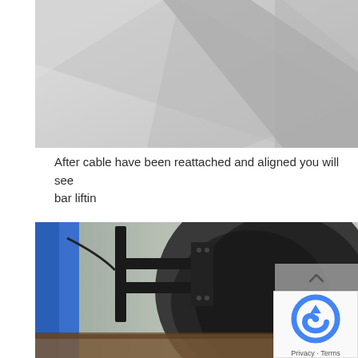[Figure (photo): Close-up photo of a white/light grey surface (possibly a satellite dish or panel) with diagonal shadow lines, angled crop showing the edge of the object against a white background.]
After cable have been reattached and aligned you will see bar liftin
[Figure (photo): Photo of a black metal bracket/mount attached to a beige/grey stucco wall, with a blue object partially visible on the left edge and a dark curved surface (satellite dish) in the center-right. A reCAPTCHA widget overlay is visible in the bottom-right corner.]